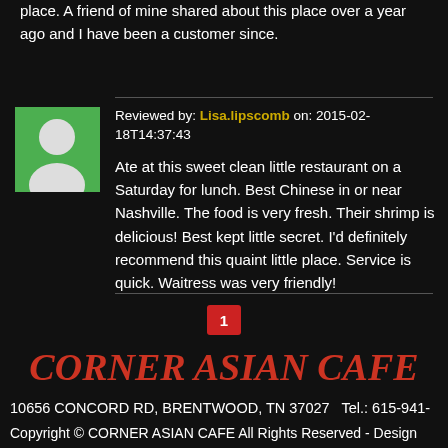place. A friend of mine shared about this place over a year ago and I have been a customer since.
Reviewed by: Lisa.lipscomb on: 2015-02-18T14:37:43
Ate at this sweet clean little restaurant on a Saturday for lunch. Best Chinese in or near Nashville. The food is very fresh. Their shrimp is delicious! Best kept little secret. I'd definitely recommend this quaint little place. Service is quick. Waitress was very friendly!
1
CORNER ASIAN CAFE
10656 CONCORD RD, BRENTWOOD, TN 37027   Tel.: 615-941-
Copyright © CORNER ASIAN CAFE All Rights Reserved - Design